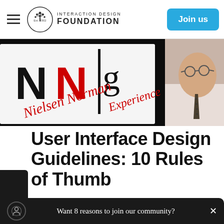Interaction Design Foundation — Navigation bar with hamburger menu, logo, and Join us button
[Figure (photo): Photo of a man in front of Nielsen Norman Group signage, showing NN/g logo in black and red, with text 'Nielsen Norman Experience']
User Interface Design Guidelines: 10 Rules of Thumb
Euphemia Wong | 2 years ago | 18 min read
Want 8 reasons to join our community?